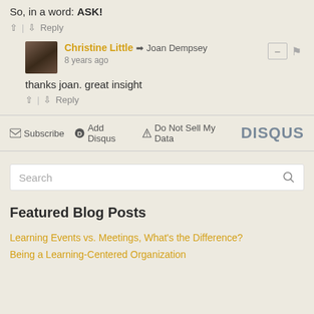So, in a word: ASK!
↑ | ↓  Reply
Christine Little → Joan Dempsey
8 years ago
thanks joan. great insight
↑ | ↓  Reply
✉ Subscribe  ⓓ Add Disqus  ▲ Do Not Sell My Data   DISQUS
Search
Featured Blog Posts
Learning Events vs. Meetings, What's the Difference?
Being a Learning-Centered Organization